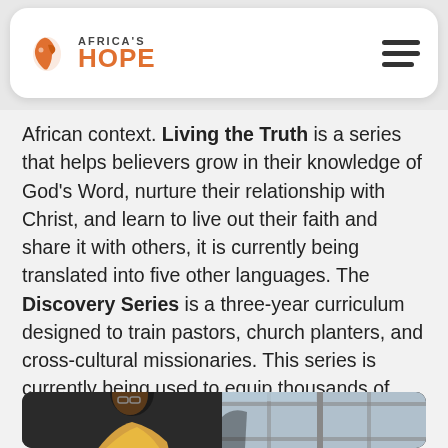Africa's Hope
African context. Living the Truth is a series that helps believers grow in their knowledge of God's Word, nurture their relationship with Christ, and learn to live out their faith and share it with others, it is currently being translated into five other languages. The Discovery Series is a three-year curriculum designed to train pastors, church planters, and cross-cultural missionaries. This series is currently being used to equip thousands of students around the continent every year.
[Figure (photo): A young man in a yellow shirt leaning forward, studying or reading, with a window with grid panes visible in the background. Black and white tones with color accent.]